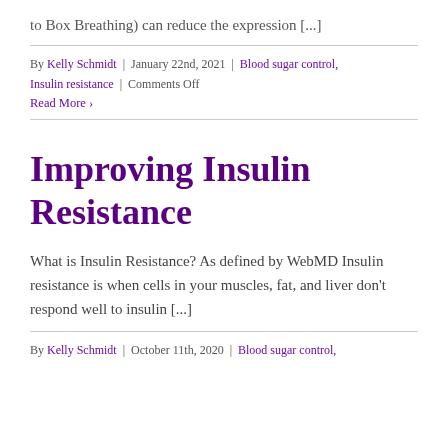to Box Breathing) can reduce the expression [...]
By Kelly Schmidt | January 22nd, 2021 | Blood sugar control, Insulin resistance | Comments Off
Read More >
Improving Insulin Resistance
What is Insulin Resistance? As defined by WebMD Insulin resistance is when cells in your muscles, fat, and liver don't respond well to insulin [...]
By Kelly Schmidt | October 11th, 2020 | Blood sugar control,